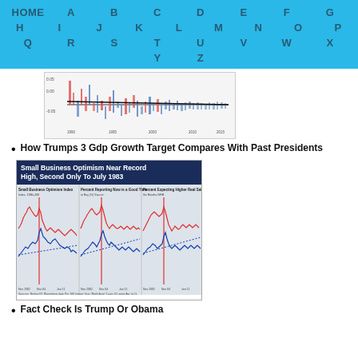HOME A B C D E F G H I J K L M N O P Q R S T U V W X Y Z
[Figure (continuous-plot): Time series chart with red and blue bars showing GDP or economic data over time, with a horizontal trend line]
How Trumps 3 Gdp Growth Target Compares With Past Presidents
[Figure (line-chart): Small Business Optimism Near Record High, Second Only To July 1983 - three-panel line chart with dark navy header showing Small Business Optimism Index, Percent Reporting Now is a Good Time to Buy, and Percent Expecting Higher Real Sales for 6 months, with red and blue lines]
Fact Check Is Trump Or Obama